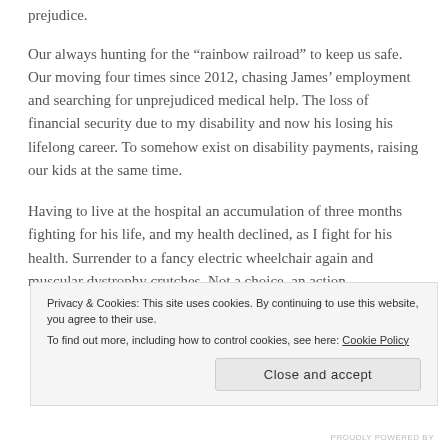prejudice.
Our always hunting for the “rainbow railroad” to keep us safe. Our moving four times since 2012, chasing James’ employment and searching for unprejudiced medical help. The loss of financial security due to my disability and now his losing his lifelong career. To somehow exist on disability payments, raising our kids at the same time.
Having to live at the hospital an accumulation of three months fighting for his life, and my health declined, as I fight for his health. Surrender to a fancy electric wheelchair again and muscular dystrophy crutches. Not a choice, an action
Privacy & Cookies: This site uses cookies. By continuing to use this website, you agree to their use.
To find out more, including how to control cookies, see here: Cookie Policy
Close and accept
PROUDLY POWERED BY